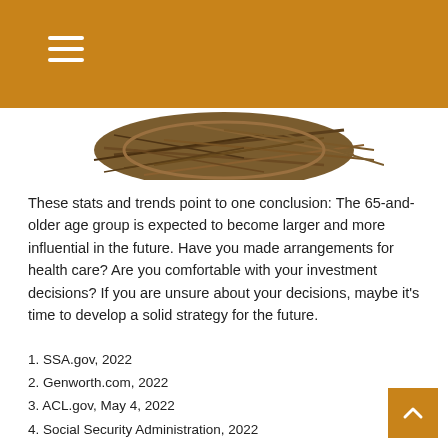[Figure (photo): A bird's nest photographed from above on a white background, partially visible at the top of the page.]
These stats and trends point to one conclusion: The 65-and-older age group is expected to become larger and more influential in the future. Have you made arrangements for health care? Are you comfortable with your investment decisions? If you are unsure about your decisions, maybe it's time to develop a solid strategy for the future.
1. SSA.gov, 2022
2. Genworth.com, 2022
3. ACL.gov, May 4, 2022
4. Social Security Administration, 2022
5. Employee Benefit Research Institute, 2022
6. SSA.gov, 2022